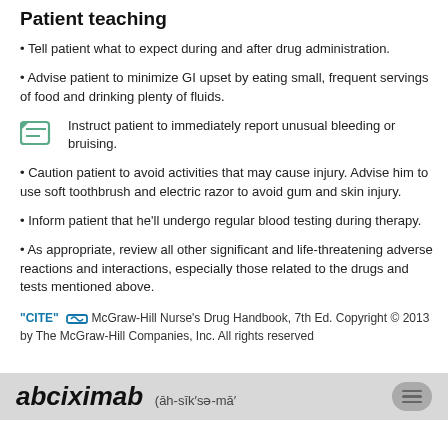Patient teaching
Tell patient what to expect during and after drug administration.
Advise patient to minimize GI upset by eating small, frequent servings of food and drinking plenty of fluids.
Instruct patient to immediately report unusual bleeding or bruising.
Caution patient to avoid activities that may cause injury. Advise him to use soft toothbrush and electric razor to avoid gum and skin injury.
Inform patient that he'll undergo regular blood testing during therapy.
As appropriate, review all other significant and life-threatening adverse reactions and interactions, especially those related to the drugs and tests mentioned above.
"CITE" McGraw-Hill Nurse's Drug Handbook, 7th Ed. Copyright © 2013 by The McGraw-Hill Companies, Inc. All rights reserved
abciximab (āh-sīk′sə-mā′